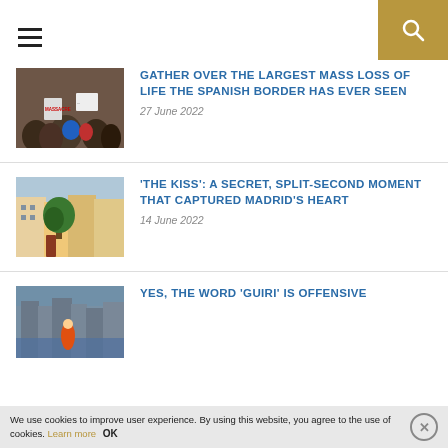Navigation header with hamburger menu and search icon
[Figure (photo): Protest crowd with signs, including word MASSACRE visible]
GATHER OVER THE LARGEST MASS LOSS OF LIFE THE SPANISH BORDER HAS EVER SEEN
27 June 2022
[Figure (photo): Colorful street scene in Madrid with trees and buildings]
'THE KISS': A SECRET, SPLIT-SECOND MOMENT THAT CAPTURED MADRID'S HEART
14 June 2022
[Figure (photo): Flooded urban area with a person in orange safety gear]
YES, THE WORD 'GUIRI' IS OFFENSIVE
We use cookies to improve user experience. By using this website, you agree to the use of cookies. Learn more OK